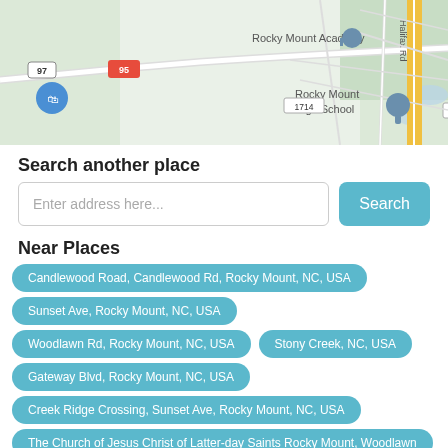[Figure (map): Google Maps screenshot showing Rocky Mount area with road network, Halifax Rd, highway 95, highway 97, road 1714, Rocky Mount Academy and Rocky Mount High School markers visible.]
Search another place
Enter address here... [Search]
Near Places
Candlewood Road, Candlewood Rd, Rocky Mount, NC, USA
Sunset Ave, Rocky Mount, NC, USA
Woodlawn Rd, Rocky Mount, NC, USA
Stony Creek, NC, USA
Gateway Blvd, Rocky Mount, NC, USA
Creek Ridge Crossing, Sunset Ave, Rocky Mount, NC, USA
The Church of Jesus Christ of Latter-day Saints Rocky Mount, Woodlawn